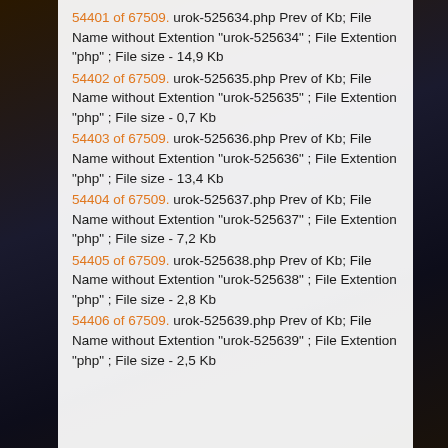54401 of 67509. urok-525634.php Prev of Kb; File Name without Extention "urok-525634" ; File Extention "php" ; File size - 14,9 Kb
54402 of 67509. urok-525635.php Prev of Kb; File Name without Extention "urok-525635" ; File Extention "php" ; File size - 0,7 Kb
54403 of 67509. urok-525636.php Prev of Kb; File Name without Extention "urok-525636" ; File Extention "php" ; File size - 13,4 Kb
54404 of 67509. urok-525637.php Prev of Kb; File Name without Extention "urok-525637" ; File Extention "php" ; File size - 7,2 Kb
54405 of 67509. urok-525638.php Prev of Kb; File Name without Extention "urok-525638" ; File Extention "php" ; File size - 2,8 Kb
54406 of 67509. urok-525639.php Prev of Kb; File Name without Extention "urok-525639" ; File Extention "php" ; File size - 2,5 Kb